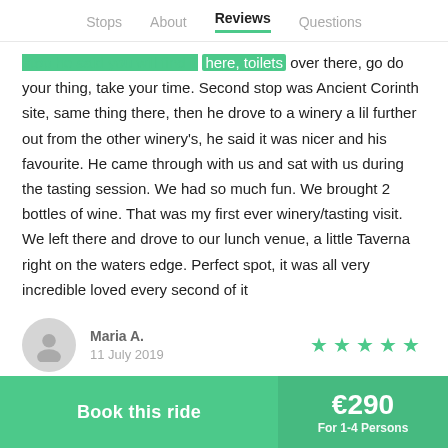Stops   About   Reviews   Questions
stop he said you will find it here, toilets over there, go do your thing, take your time. Second stop was Ancient Corinth site, same thing there, then he drove to a winery a lil further out from the other winery's, he said it was nicer and his favourite. He came through with us and sat with us during the tasting session. We had so much fun. We brought 2 bottles of wine. That was my first ever winery/tasting visit. We left there and drove to our lunch venue, a little Taverna right on the waters edge. Perfect spot, it was all very incredible loved every second of it
Maria A.
11 July 2019
★★★★★
Book this ride
€290
For 1-4 Persons